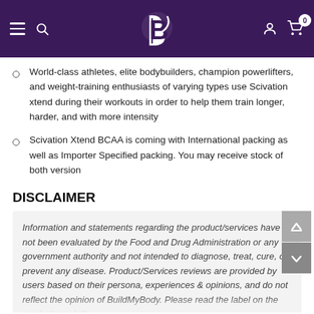Navigation bar with logo, hamburger menu, search, user and cart icons
World-class athletes, elite bodybuilders, champion powerlifters, and weight-training enthusiasts of varying types use Scivation xtend during their workouts in order to help them train longer, harder, and with more intensity
Scivation Xtend BCAA is coming with International packing as well as Importer Specified packing. You may receive stock of both version
DISCLAIMER
Information and statements regarding the product/services have not been evaluated by the Food and Drug Administration or any government authority and not intended to diagnose, treat, cure, or prevent any disease. Product/Services reviews are provided by users based on their persona, experiences & opinions, and do not reflect the opinion of BuildMyBody. Please read the label on the product carefully